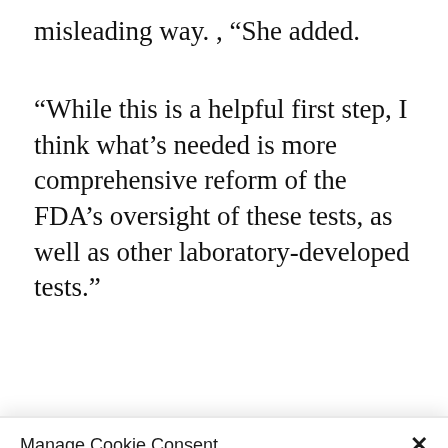misleading way. , “She added.
“While this is a helpful first step, I think what’s needed is more comprehensive reform of the FDA’s oversight of these tests, as well as other laboratory-developed tests.”
Manage Cookie Consent
To provide the best experiences, we use technologies like cookies to store and/or access device information. Consenting to these technologies will allow us to process data such as browsing behavior or unique IDs on this site. Not consenting or withdrawing consent, may adversely affect certain features and functions.
Accept
Cookie Policy